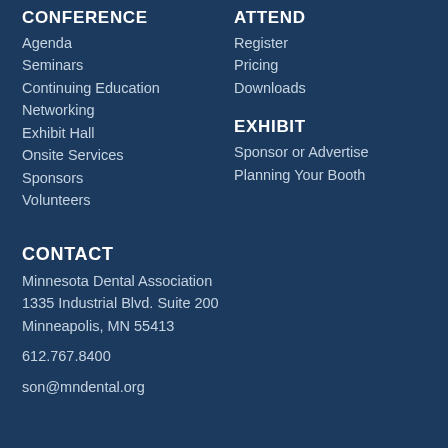CONFERENCE
Agenda
Seminars
Continuing Education
Networking
Exhibit Hall
Onsite Services
Sponsors
Volunteers
ATTEND
Register
Pricing
Downloads
EXHIBIT
Sponsor or Advertise
Planning Your Booth
CONTACT
Minnesota Dental Association
1335 Industrial Blvd. Suite 200
Minneapolis, MN 55413
612.767.8400
son@mndental.org